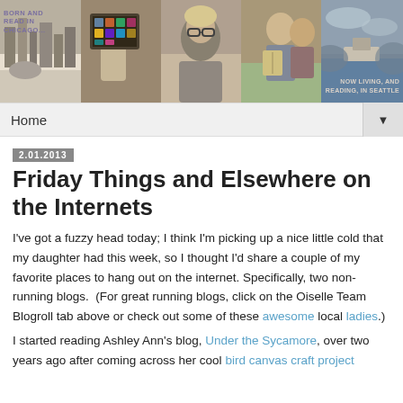BORN AND READ IN CHICAGO... [banner with photos] NOW LIVING, AND READING, IN SEATTLE
Home ▼
2.01.2013
Friday Things and Elsewhere on the Internets
I've got a fuzzy head today; I think I'm picking up a nice little cold that my daughter had this week, so I thought I'd share a couple of my favorite places to hang out on the internet. Specifically, two non-running blogs.  (For great running blogs, click on the Oiselle Team Blogroll tab above or check out some of these awesome local ladies.)
I started reading Ashley Ann's blog, Under the Sycamore, over two years ago after coming across her cool bird canvas craft project